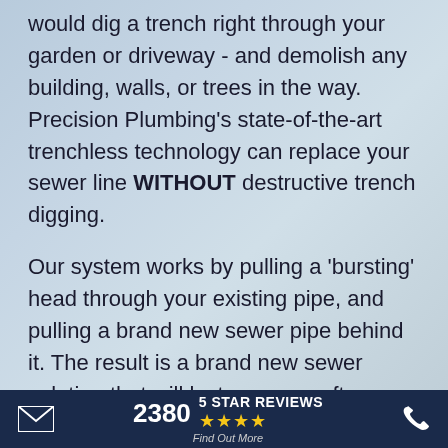would dig a trench right through your garden or driveway - and demolish any building, walls, or trees in the way. Precision Plumbing's state-of-the-art trenchless technology can replace your sewer line WITHOUT destructive trench digging.
Our system works by pulling a 'bursting' head through your existing pipe, and pulling a brand new sewer pipe behind it. The result is a brand new sewer solution that will last you year after year.
Best of all, not only does a trenchless solution save your garden and property, it can also save you from the expensive landscaping and driveway replacements, as well as time and money.
2380 5 STAR REVIEWS Find Out More